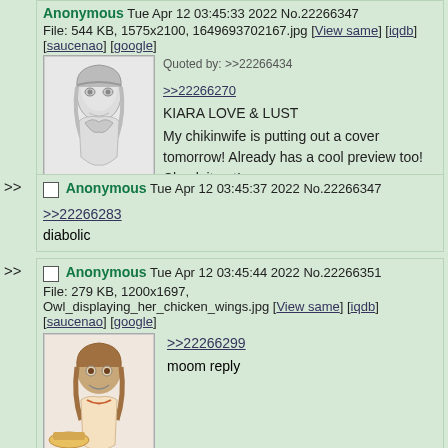Anonymous Tue Apr 12 03:45:33 2022 No.22266347 File: 544 KB, 1575x2100, 1649693702167.jpg [View same] [iqdb] [saucenao] [google]
Quoted by: >>22266434
>>22266270
KIARA LOVE & LUST
My chikinwife is putting out a cover tomorrow! Already has a cool preview too! Check it out!
https://youtu.be/FvnQJZnnXXo
Anonymous Tue Apr 12 03:45:37 2022 No.22266347
>>22266283
diabolic
Anonymous Tue Apr 12 03:45:44 2022 No.22266351
File: 279 KB, 1200x1697, Owl_displaying_her_chicken_wings.jpg [View same] [iqdb] [saucenao] [google]
>>22266299
moom reply